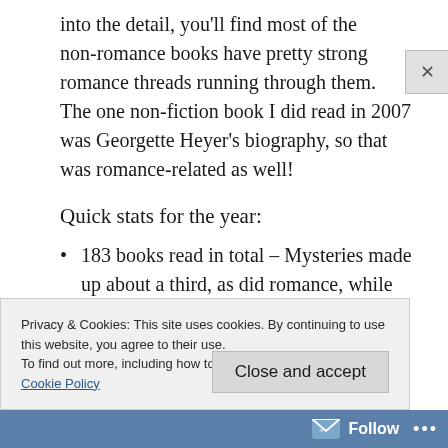into the detail, you'll find most of the non-romance books have pretty strong romance threads running through them.  The one non-fiction book I did read in 2007 was Georgette Heyer's biography, so that was romance-related as well!
Quick stats for the year:
183 books read in total – Mysteries made up about a third, as did romance, while
Privacy & Cookies: This site uses cookies. By continuing to use this website, you agree to their use.
To find out more, including how to control cookies, see here:
Cookie Policy
Close and accept
Follow ···